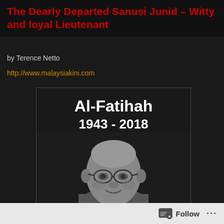The Dearly Departed Sanusi Junid – Witty and loyal Lieutenant
by Terence Netto
http://www.malaysiakini.com
[Figure (photo): Memorial image with text 'Al-Fatihah 1943 - 2018' and a black-and-white portrait photo of an elderly bespectacled man smiling]
Follow ...